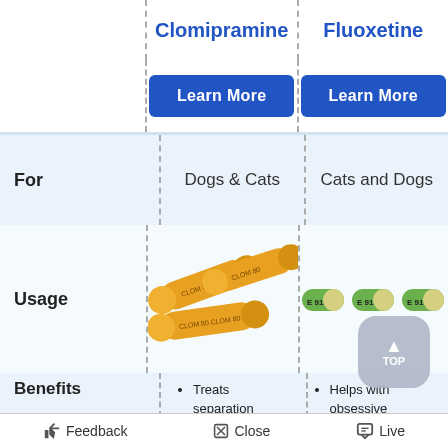Clomipramine
Fluoxetine
Learn More
Learn More
|  | Clomipramine | Fluoxetine |
| --- | --- | --- |
| For | Dogs & Cats | Cats and Dogs |
| Usage | [pill image] | [pill image] |
| Benefits | • Treats separation anxiety in pets
• Helps reduce symptoms caused by separation anxiety such as, excessive barking, inappropriate | • Helps with obsessive compulsive behaviors such as tail chasing in dogs, or |
👍 Feedback   ✕ Close   🗨 Live